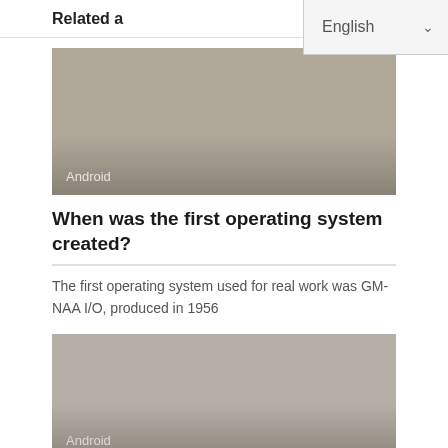Related a
[Figure (screenshot): Gray placeholder image card with 'Android' label at bottom left]
When was the first operating system created?
The first operating system used for real work was GM-NAA I/O, produced in 1956
[Figure (screenshot): Gray placeholder image card with 'Android' label at bottom left]